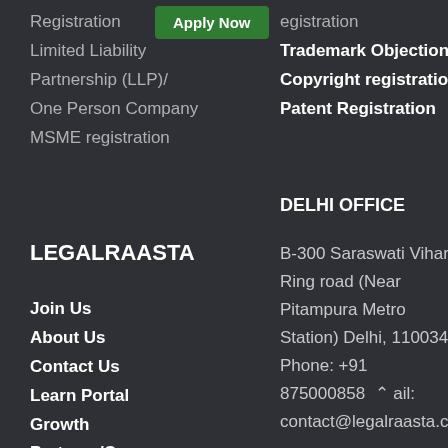Registration
[Figure (other): Green 'Apply Now' button]
egistration
Limited Liability
Trademark Objection
Partnership (LLP)/
Copyright registration
One Person Company
Patent Registration
MSME registration
DELHI OFFICE
LEGALRAASTA
B-300 Saraswati Vihar, Ring road (Near Pitampura Metro Station) Delhi, 110034 Phone: +91 875000858 ail: contact@legalraasta.com
Join Us
About Us
Contact Us
Learn Portal
Growth
Partners/Coupon